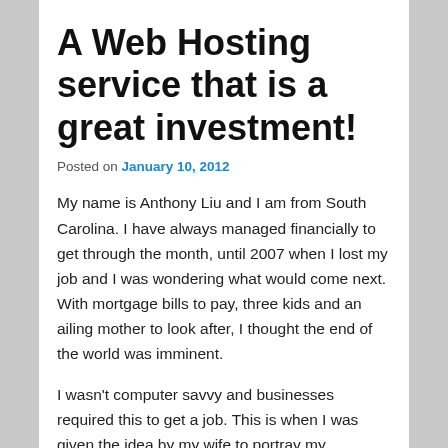A Web Hosting service that is a great investment!
Posted on January 10, 2012
My name is Anthony Liu and I am from South Carolina. I have always managed financially to get through the month, until 2007 when I lost my job and I was wondering what would come next. With mortgage bills to pay, three kids and an ailing mother to look after, I thought the end of the world was imminent.
I wasn't computer savvy and businesses required this to get a job. This is when I was given the idea by my wife to portray my paintings online. I was very skeptical at first, because I knew nothing about how to build my own